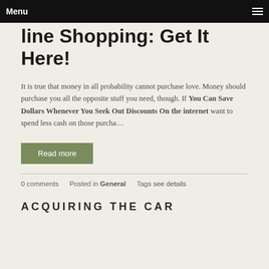Menu
line Shopping: Get It Here!
It is true that money in all probability cannot purchase love. Money should purchase you all the opposite stuff you need, though. If You Can Save Dollars Whenever You Seek Out Discounts On the internet want to spend less cash on those purcha…
Read more
0 comments   Posted in General   Tags see details
ACQUIRING THE CAR